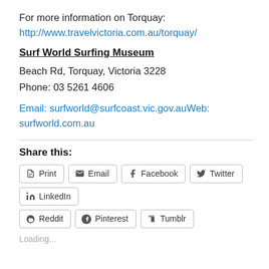For more information on Torquay:
http://www.travelvictoria.com.au/torquay/
Surf World Surfing Museum
Beach Rd, Torquay, Victoria 3228
Phone: 03 5261 4606
Email: surfworld@surfcoast.vic.gov.auWeb: surfworld.com.au
Share this:
Print  Email  Facebook  Twitter  LinkedIn  Reddit  Pinterest  Tumblr
Loading...